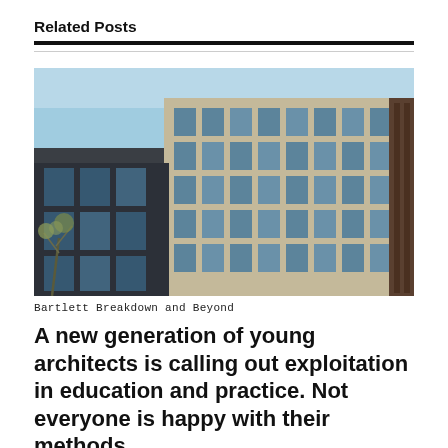Related Posts
[Figure (photo): Exterior photo of a modern multi-story building with a grid of large windows set in concrete/stone facade, photographed against a blue sky with a bare tree visible at the lower left.]
Bartlett Breakdown and Beyond
A new generation of young architects is calling out exploitation in education and practice. Not everyone is happy with their methods.